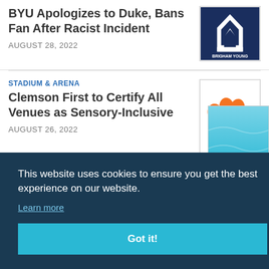BYU Apologizes to Duke, Bans Fan After Racist Incident
AUGUST 28, 2022
[Figure (logo): BYU Cougars Y logo in navy blue and white]
STADIUM & ARENA
Clemson First to Certify All Venues as Sensory-Inclusive
AUGUST 26, 2022
[Figure (logo): Clemson Tigers orange paw print logo]
[Figure (photo): Partial photo visible at bottom right, appears to be water or teal surface]
This website uses cookies to ensure you get the best experience on our website.
Learn more
Got it!